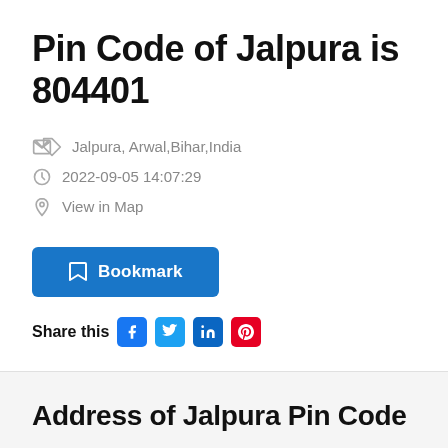Pin Code of Jalpura is 804401
Jalpura, Arwal,Bihar,India
2022-09-05 14:07:29
View in Map
Bookmark
Share this
Address of Jalpura Pin Code